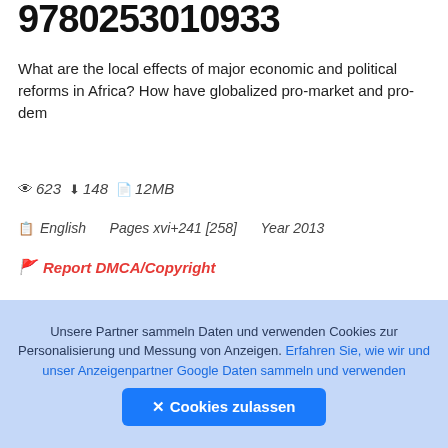9780253010933
What are the local effects of major economic and political reforms in Africa? How have globalized pro-market and pro-dem
👁 623  ⬇ 148  📄 12MB
📋 English   Pages xvi+241 [258]   Year 2013
🚩 Report DMCA/Copyright
DOWNLOAD FILE
👤 Author / Uploaded
Unsere Partner sammeln Daten und verwenden Cookies zur Personalisierung und Messung von Anzeigen. Erfahren Sie, wie wir und unser Anzeigenpartner Google Daten sammeln und verwenden
✕ Cookies zulassen